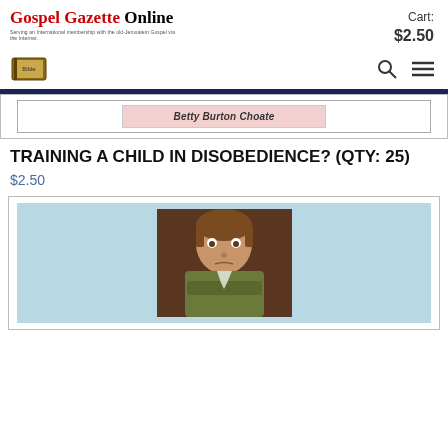Gospel Gazette Online — Serving an International membership with the old-Jerusalem Gospel via the Internet. Cart: $2.50
[Figure (logo): Gospel Gazette Online logo with book icon and navigation icons (search, hamburger menu)]
[Figure (photo): Partial view of book cover showing 'Betty Burton Choate' on a pink background]
TRAINING A CHILD IN DISOBEDIENCE? (QTY: 25)
$2.50
[Figure (photo): Photo of a young boy with brown hair wearing an olive/green jacket, arms folded on a brown background]